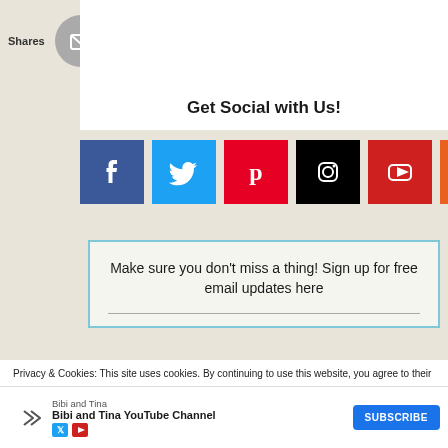[Figure (screenshot): Share bar with social media circular icons: email (gray), Pinterest (red), Twitter (blue), Facebook (dark blue), WhatsApp (green), SMS (dark blue), crown icon (dark blue)]
Get Social with Us!
[Figure (screenshot): Social media square icons in a row: Facebook (dark blue), Twitter (light blue), Pinterest (red), Instagram (black), YouTube (red), RSS (orange)]
Make sure you don't miss a thing! Sign up for free email updates here
Privacy & Cookies: This site uses cookies. By continuing to use this website, you agree to their use.
To find out more, including how to control cookies, see here: Cookie Policy
Bibi and Tina
Bibi and Tina YouTube Channel
SUBSCRIBE